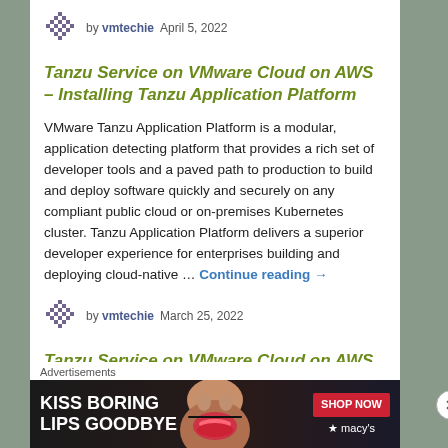by vmtechie   April 5, 2022
Tanzu Service on VMware Cloud on AWS – Installing Tanzu Application Platform
VMware Tanzu Application Platform is a modular, application detecting platform that provides a rich set of developer tools and a paved path to production to build and deploy software quickly and securely on any compliant public cloud or on-premises Kubernetes cluster. Tanzu Application Platform delivers a superior developer experience for enterprises building and deploying cloud-native … Continue reading →
by vmtechie   March 25, 2022
Tanzu Service on VMware Cloud on AWS – Kubernetes Cluster Operations
Advertisements
[Figure (photo): Advertisement banner: KISS BORING LIPS GOODBYE with a woman's face and SHOP NOW macy's button]